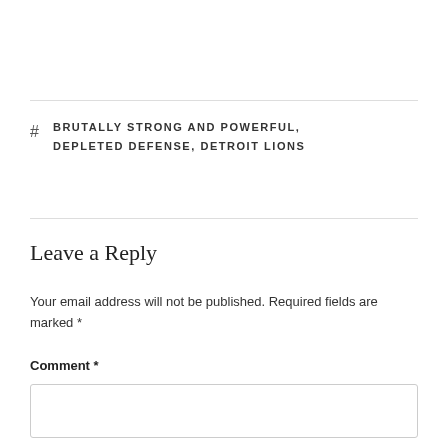# BRUTALLY STRONG AND POWERFUL, DEPLETED DEFENSE, DETROIT LIONS
Leave a Reply
Your email address will not be published. Required fields are marked *
Comment *